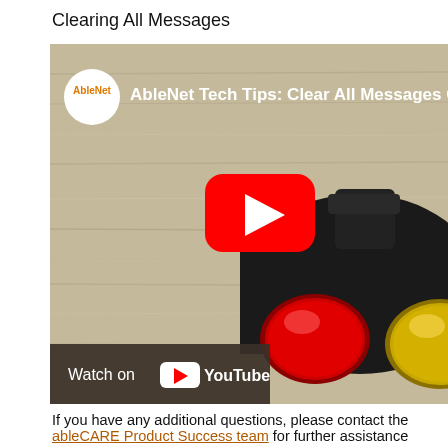Clearing All Messages
[Figure (screenshot): YouTube video thumbnail showing AbleNet Tech Tips: Clear All Messages On BIG, with a red play button overlay. The image shows a device with red and yellow buttons on a wooden surface. Below the thumbnail is a 'Watch on YouTube' bar.]
If you have any additional questions, please contact the ableCARE Product Success team for further assistance